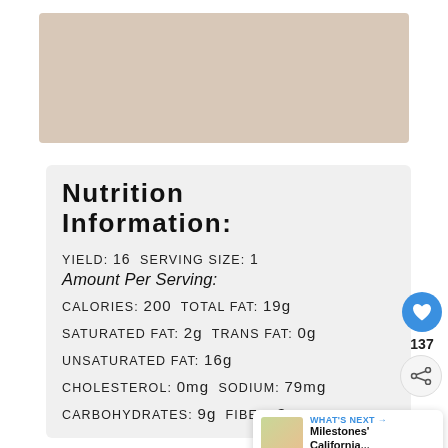[Figure (photo): Food photo placeholder area at top of page]
Nutrition Information:
YIELD: 16  SERVING SIZE: 1
Amount Per Serving:
CALORIES: 200  TOTAL FAT: 19g
SATURATED FAT: 2g  TRANS FAT: 0g
UNSATURATED FAT: 16g
CHOLESTEROL: 0mg  SODIUM: 79mg
CARBOHYDRATES: 9g  FIBER: 3g